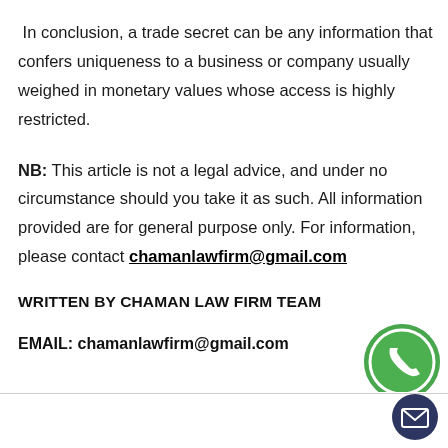In conclusion, a trade secret can be any information that confers uniqueness to a business or company usually weighed in monetary values whose access is highly restricted.
NB: This article is not a legal advice, and under no circumstance should you take it as such. All information provided are for general purpose only. For information, please contact chamanlawfirm@gmail.com
WRITTEN BY CHAMAN LAW FIRM TEAM
EMAIL: chamanlawfirm@gmail.com
[Figure (illustration): Green WhatsApp icon circle (partial, cropped at bottom)]
[Figure (illustration): Dark navy/purple circular mail/envelope icon button in bottom-right corner]